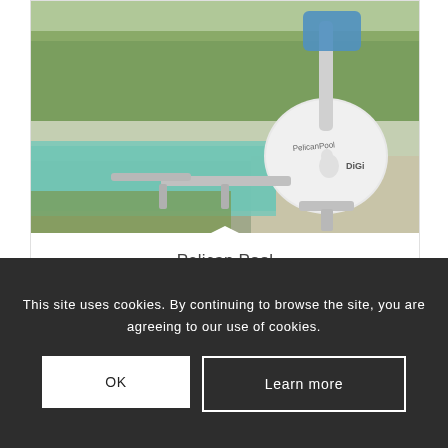[Figure (photo): A white portable pool lift (Pelican Pool brand) next to a swimming pool with aqua-blue water, with trees in the background and a DIGI logo visible on the unit.]
Pelican Pool
Portable pool lift
This site uses cookies. By continuing to browse the site, you are agreeing to our use of cookies.